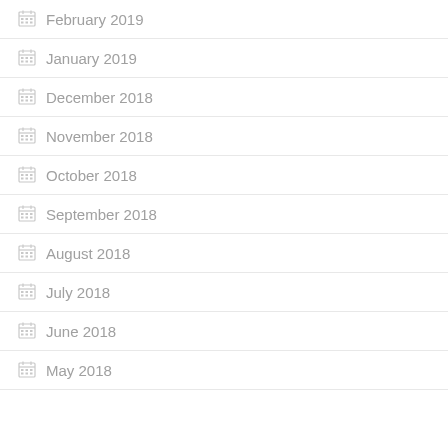February 2019
January 2019
December 2018
November 2018
October 2018
September 2018
August 2018
July 2018
June 2018
May 2018